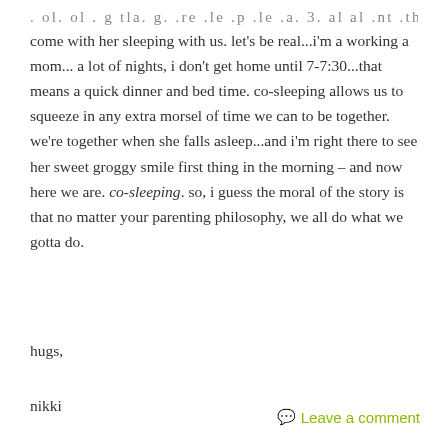...ol. ol. g tla. g. re. le. p. le. a. 3. al. al. nt. thr... (clipped top line)
come with her sleeping with us.  let's be real...i'm a working a mom... a lot of nights, i don't get home until 7-7:30...that means a quick dinner and bed time.  co-sleeping allows us to squeeze in any extra morsel of time we can to be together.  we're together when she falls asleep...and i'm right there to see her sweet groggy smile first thing in the morning –  and now here we are. co-sleeping.  so, i guess the moral of the story is that no matter your parenting philosophy, we all do what we gotta do.
hugs,
nikki
Leave a comment